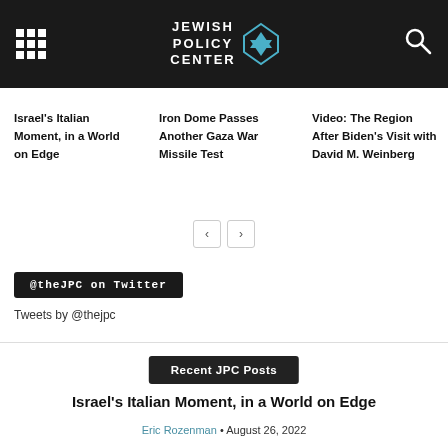Jewish Policy Center
Israel's Italian Moment, in a World on Edge
Iron Dome Passes Another Gaza War Missile Test
Video: The Region After Biden's Visit with David M. Weinberg
@theJPC on Twitter
Tweets by @thejpc
Recent JPC Posts
Israel's Italian Moment, in a World on Edge
Eric Rozenman • August 26, 2022